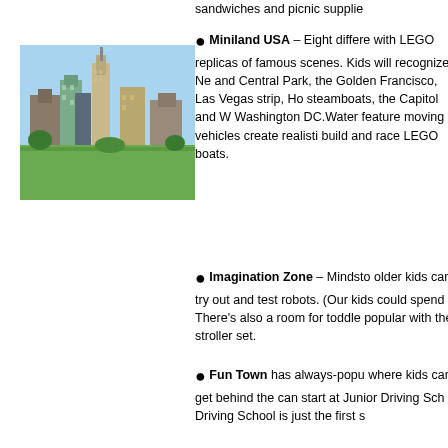sandwiches and picnic supplie...
[Figure (photo): Photo of a city skyline with skyscrapers including buildings resembling New York City landmarks, made with LEGO replicas.]
Miniland USA – Eight different areas with LEGO replicas of famous scenes. Kids will recognize New York and Central Park, the Golden Gate in San Francisco, Las Vegas strip, Ho... steamboats, the Capitol and Washington DC. Water features and moving vehicles create realistic... build and race LEGO boats.
Imagination Zone – Mindsto... older kids can try out and test robots. (Our kids could spend... There's also a room for toddle... popular with the stroller set.
Fun Town has always-popu... where kids can get behind the... can start at Junior Driving Sch... Driving School is just the first s...